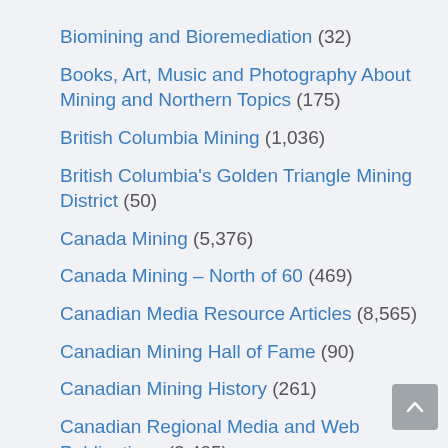Biomining and Bioremediation (32)
Books, Art, Music and Photography About Mining and Northern Topics (175)
British Columbia Mining (1,036)
British Columbia's Golden Triangle Mining District (50)
Canada Mining (5,376)
Canada Mining – North of 60 (469)
Canadian Media Resource Articles (8,565)
Canadian Mining Hall of Fame (90)
Canadian Mining History (261)
Canadian Regional Media and Web Publications (3,405)